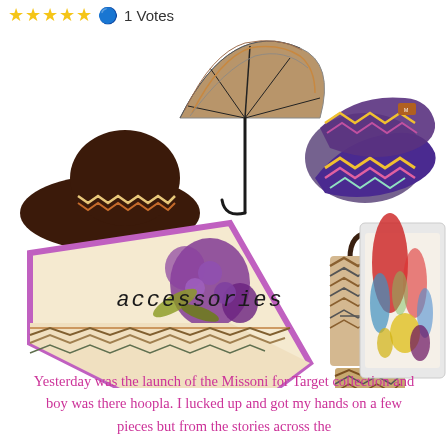★★★★★ 🔵 1 Votes
[Figure (photo): Collage of Missoni for Target accessories: a wide-brim brown hat with chevron band, a chevron-patterned compact umbrella, chevron-print flat shoes, a floral and chevron silk scarf/wrap, a chevron tote bag with matching pouch, and a colorful abstract print clutch/sleeve. The word 'accessories' appears in italic monospace font overlaid on the collage.]
Yesterday was the launch of the Missoni for Target collection and boy was there hoopla. I lucked up and got my hands on a few pieces but from the stories across the